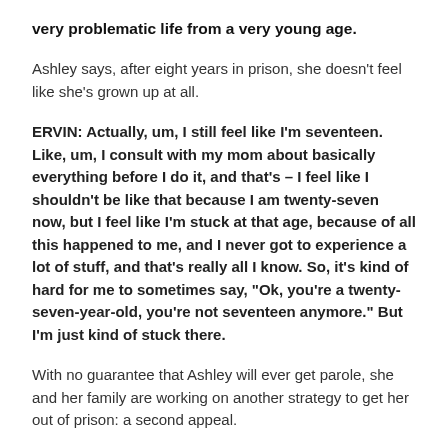very problematic life from a very young age.
Ashley says, after eight years in prison, she doesn’t feel like she’s grown up at all.
ERVIN: Actually, um, I still feel like I’m seventeen. Like, um, I consult with my mom about basically everything before I do it, and that’s – I feel like I shouldn’t be like that because I am twenty-seven now, but I feel like I’m stuck at that age, because of all this happened to me, and I never got to experience a lot of stuff, and that’s really all I know. So, it’s kind of hard for me to sometimes say, “Ok, you’re a twenty-seven-year-old, you’re not seventeen anymore.” But I’m just kind of stuck there.
With no guarantee that Ashley will ever get parole, she and her family are working on another strategy to get her out of prison: a second appeal.